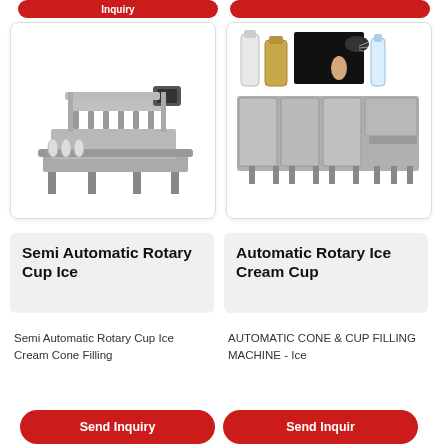[Figure (photo): Partial red button/banner cropped at top of page]
[Figure (photo): Semi Automatic Rotary Cup Ice Cream filling machine - industrial stainless steel machine with multiple filling nozzles on a conveyor]
[Figure (photo): Automatic Rotary Ice Cream Cup filling machine - shows various spray/aerosol bottles at top and industrial filling machine below]
Semi Automatic Rotary Cup Ice
Automatic Rotary Ice Cream Cup
Semi Automatic Rotary Cup Ice Cream Cone Filling
AUTOMATIC CONE & CUP FILLING MACHINE - Ice
Send Inquiry
Send Inquiry